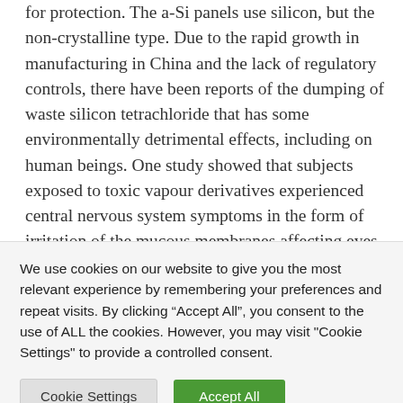for protection. The a-Si panels use silicon, but the non-crystalline type. Due to the rapid growth in manufacturing in China and the lack of regulatory controls, there have been reports of the dumping of waste silicon tetrachloride that has some environmentally detrimental effects, including on human beings. One study showed that subjects exposed to toxic vapour derivatives experienced central nervous system symptoms in the form of irritation of the mucous membranes affecting eyes, skin and upper airways causing headaches and dizziness. Normally the waste silicon tetrachloride is
We use cookies on our website to give you the most relevant experience by remembering your preferences and repeat visits. By clicking “Accept All”, you consent to the use of ALL the cookies. However, you may visit "Cookie Settings" to provide a controlled consent.
Cookie Settings
Accept All